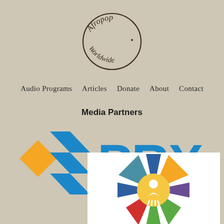[Figure (logo): Afropop Worldwide circular logo with hand-drawn circle outline and text 'Afropop Worldwide' in casual font]
Audio Programs  Articles  Donate  About  Contact
Media Partners
[Figure (logo): PRX logo with orange and blue geometric X/arrow shape on the left and blue 'PRX' text on the right]
[Figure (logo): APAP (Association of Performing Arts Professionals) colorful starburst logo with geometric triangles in red, orange, blue, purple, green and a yellow circular center with a figure icon]